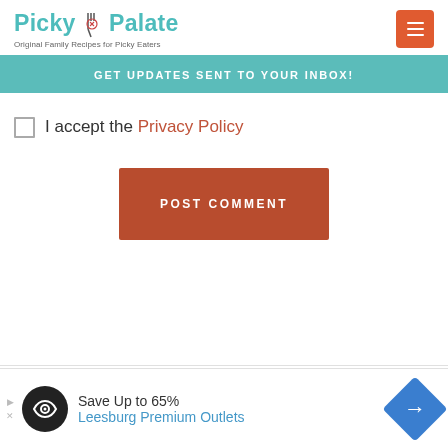Picky Palate — Original Family Recipes for Picky Eaters
[Figure (logo): Picky Palate logo with fork/spoon icons in teal text, subtitle: Original Family Recipes for Picky Eaters]
GET UPDATES SENT TO YOUR INBOX!
I accept the Privacy Policy
POST COMMENT
[Figure (infographic): Advertisement banner: Save Up to 65% Leesburg Premium Outlets with circular logo and directional sign icon]